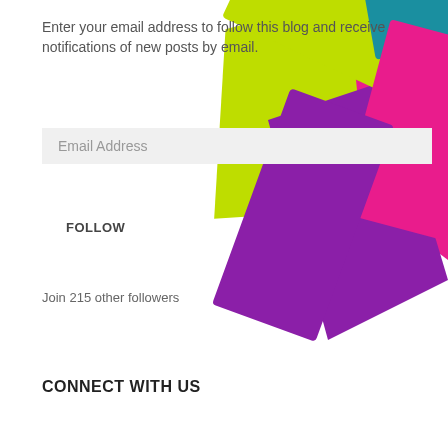Enter your email address to follow this blog and receive notifications of new posts by email.
Email Address
FOLLOW
Join 215 other followers
CONNECT WITH US
[Figure (illustration): Decorative colorful overlapping diagonal rectangles/shapes in lime green, teal/blue, pink/magenta, and purple arranged in a fan-like pattern in the upper right corner of the page.]